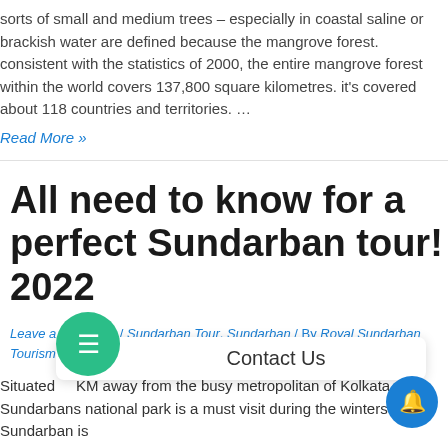sorts of small and medium trees – especially in coastal saline or brackish water are defined because the mangrove forest. consistent with the statistics of 2000, the entire mangrove forest within the world covers 137,800 square kilometres. it's covered about 118 countries and territories. …
Read More »
All need to know for a perfect Sundarban tour! 2022
Leave a Comment / Sundarban Tour, Sundarban / By Royal Sundarban Tourism
Situated KM away from the busy metropolitan of Kolkata, Sundarbans national park is a must visit during the winters! Sundarban is